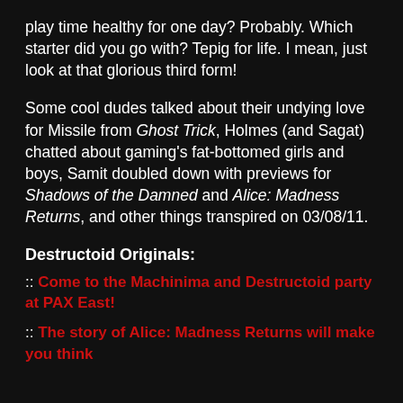play time healthy for one day? Probably. Which starter did you go with? Tepig for life. I mean, just look at that glorious third form!
Some cool dudes talked about their undying love for Missile from Ghost Trick, Holmes (and Sagat) chatted about gaming's fat-bottomed girls and boys, Samit doubled down with previews for Shadows of the Damned and Alice: Madness Returns, and other things transpired on 03/08/11.
Destructoid Originals:
:: Come to the Machinima and Destructoid party at PAX East!
:: The story of Alice: Madness Returns will make you think